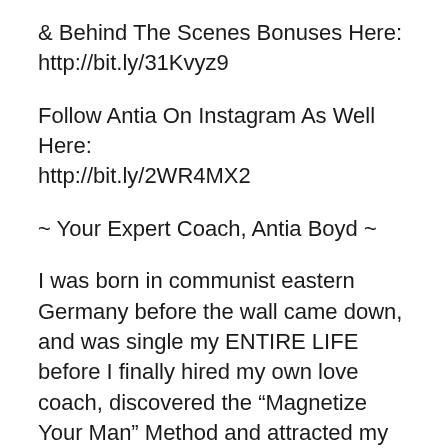& Behind The Scenes Bonuses Here: http://bit.ly/31Kvyz9
Follow Antia On Instagram As Well Here: http://bit.ly/2WR4MX2
~ Your Expert Coach, Antia Boyd ~
I was born in communist eastern Germany before the wall came down, and was single my ENTIRE LIFE before I finally hired my own love coach, discovered the “Magnetize Your Man” Method and attracted my amazing, handsome and supportive husband Brody.
I’ve now been helping thousands of successful women all over the world for over